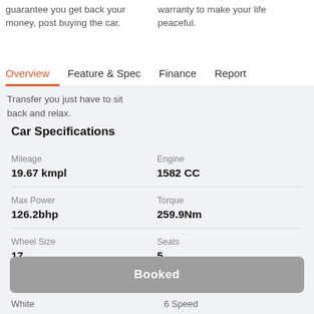guarantee you get back your money, post buying the car.
warranty to make your life peaceful.
Overview  Feature & Spec  Finance  Report
Transfer you just have to sit back and relax.
Car Specifications
| Mileage | Engine |
| --- | --- |
| 19.67 kmpl | 1582 CC |
| Max Power | Torque |
| --- | --- |
| 126.2bhp | 259.9Nm |
| Wheel Size | Seats |
| --- | --- |
| 17 | 5 |
Booked
White  6 Speed